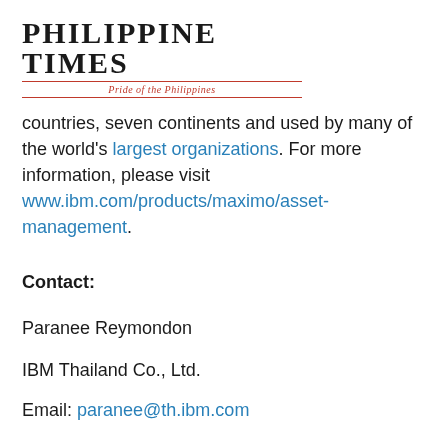Philippine Times — Pride of the Philippines
countries, seven continents and used by many of the world's largest organizations. For more information, please visit www.ibm.com/products/maximo/asset-management.
Contact:
Paranee Reymondon
IBM Thailand Co., Ltd.
Email: paranee@th.ibm.com